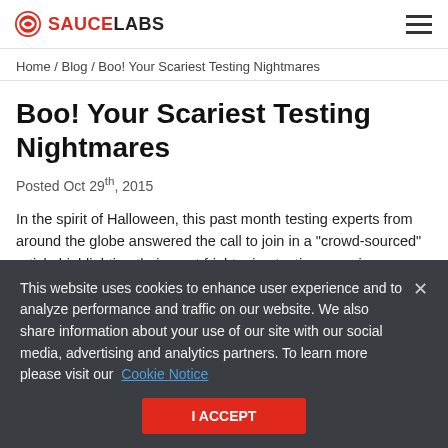SAUCE LABS
Home / Blog / Boo! Your Scariest Testing Nightmares
Boo! Your Scariest Testing Nightmares
Posted Oct 29th, 2015
In the spirit of Halloween, this past month testing experts from around the globe answered the call to join in a "crowd-sourced" article highlighting their most frightening testing experience. These are real-life examples of testing gone wrong—leading to all sorts of mayhem in some cases. We allowed these testers to hide
This website uses cookies to enhance user experience and to analyze performance and traffic on our website. We also share information about your use of our site with our social media, advertising and analytics partners. To learn more please visit our Cookie Notice